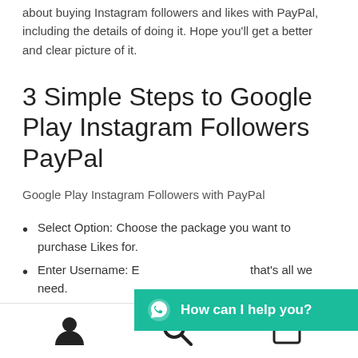about buying Instagram followers and likes with PayPal, including the details of doing it. Hope you'll get a better and clear picture of it.
3 Simple Steps to Google Play Instagram Followers PayPal
Google Play Instagram Followers with PayPal
Select Option: Choose the package you want to purchase Likes for.
Enter Username: E… that's all we need.
[Figure (screenshot): WhatsApp chat widget bar with teal background showing 'How can I help you?' text and WhatsApp icon]
User icon | Search icon | Cart icon with badge 0